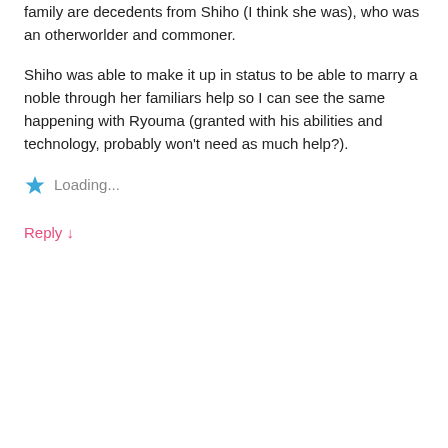family are decedents from Shiho (I think she was), who was an otherworlder and commoner.
Shiho was able to make it up in status to be able to marry a noble through her familiars help so I can see the same happening with Ryouma (granted with his abilities and technology, probably won't need as much help?).
Loading...
Reply ↓